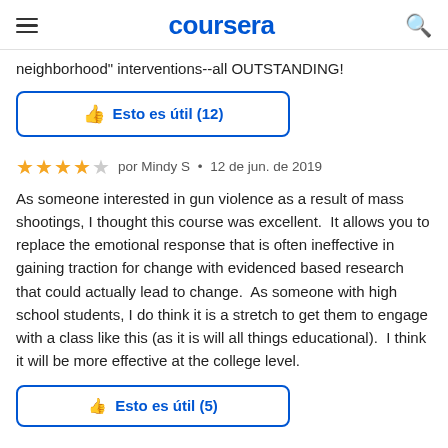coursera
neighborhood" interventions--all OUTSTANDING!
Esto es útil (12)
por Mindy S  •  12 de jun. de 2019
As someone interested in gun violence as a result of mass shootings, I thought this course was excellent.  It allows you to replace the emotional response that is often ineffective in gaining traction for change with evidenced based research that could actually lead to change.  As someone with high school students, I do think it is a stretch to get them to engage with a class like this (as it is will all things educational).  I think it will be more effective at the college level.
Esto es útil (5)